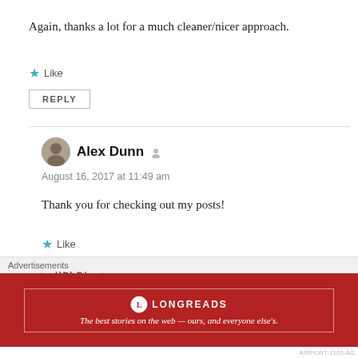Again, thanks a lot for a much cleaner/nicer approach.
Like
REPLY
Alex Dunn
August 16, 2017 at 11:49 am
Thank you for checking out my posts!
Like
REPLY
Advertisements
[Figure (other): Longreads advertisement banner: red background with Longreads logo and tagline 'The best stories on the web — ours, and everyone else's.']